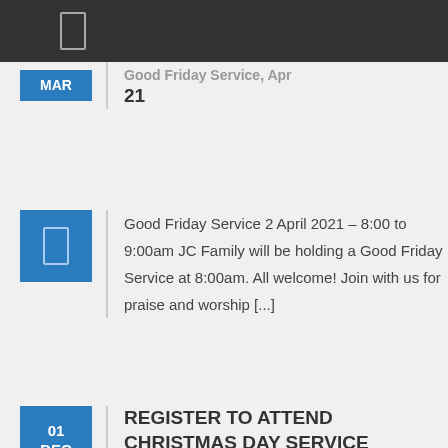(icon)
Good Friday Service 2 April 21
Good Friday Service 2 April 2021 – 8:00 to 9:00am JC Family will be holding a Good Friday Service at 8:00am. All welcome! Join with us for praise and worship [...]
REGISTER TO ATTEND CHRISTMAS DAY SERVICE